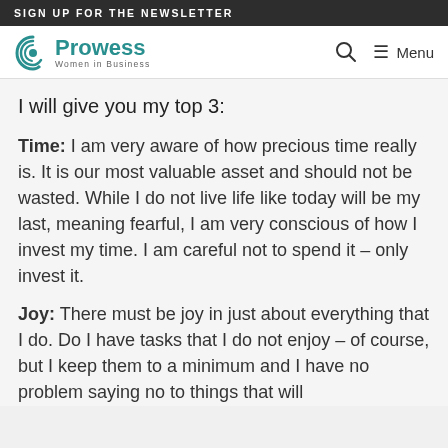SIGN UP FOR THE NEWSLETTER
[Figure (logo): Prowess Women in Business logo with teal spiral icon]
I will give you my top 3:
Time: I am very aware of how precious time really is. It is our most valuable asset and should not be wasted. While I do not live life like today will be my last, meaning fearful, I am very conscious of how I invest my time. I am careful not to spend it – only invest it.
Joy: There must be joy in just about everything that I do. Do I have tasks that I do not enjoy – of course, but I keep them to a minimum and I have no problem saying no to things that will not fill me with joy.